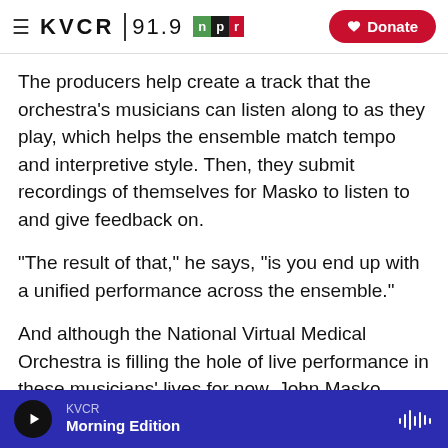KVCR 91.9 NPR | Donate
The producers help create a track that the orchestra's musicians can listen along to as they play, which helps the ensemble match tempo and interpretive style. Then, they submit recordings of themselves for Masko to listen to and give feedback on.
"The result of that," he says, "is you end up with a unified performance across the ensemble."
And although the National Virtual Medical Orchestra is filling the hole of live performance in these musicians' lives for now, John Masko would
KVCR Morning Edition